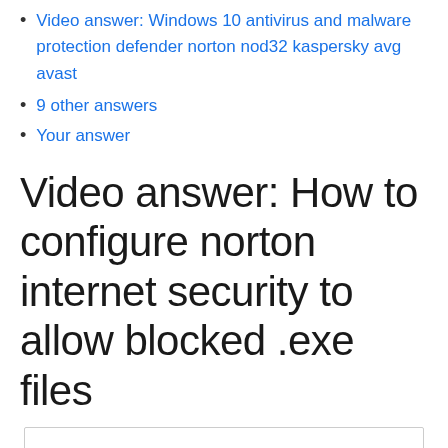Video answer: Windows 10 antivirus and malware protection defender norton nod32 kaspersky avg avast
9 other answers
Your answer
Video answer: How to configure norton internet security to allow blocked .exe files
[Figure (other): Empty video/content box at the bottom of the page]